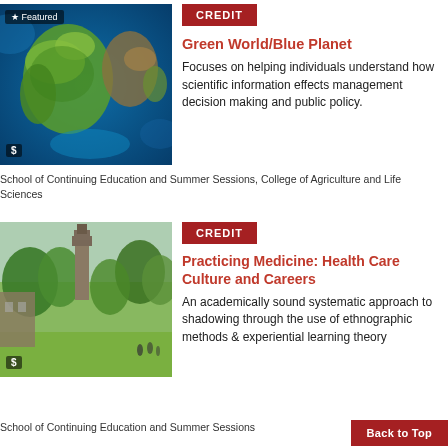[Figure (photo): Satellite image of Earth showing continents in green/brown and oceans in blue, with 'Featured' badge and dollar sign overlay]
CREDIT
Green World/Blue Planet
Focuses on helping individuals understand how scientific information effects management decision making and public policy.
School of Continuing Education and Summer Sessions, College of Agriculture and Life Sciences
[Figure (photo): Campus photo showing McGraw Tower and green trees at Cornell University, with dollar sign badge]
CREDIT
Practicing Medicine: Health Care Culture and Careers
An academically sound systematic approach to shadowing through the use of ethnographic methods & experiential learning theory
School of Continuing Education and Summer Sessions